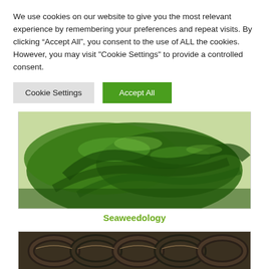We use cookies on our website to give you the most relevant experience by remembering your preferences and repeat visits. By clicking “Accept All”, you consent to the use of ALL the cookies. However, you may visit "Cookie Settings" to provide a controlled consent.
Cookie Settings
Accept All
[Figure (photo): Pile of fresh green seaweed leaves on white background]
Seaweedology
[Figure (photo): Coiled dark rope or seaweed strands arranged in loops]